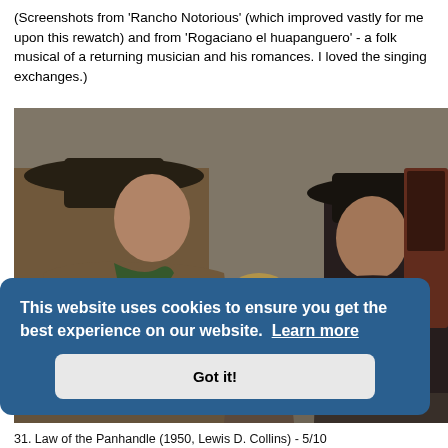(Screenshots from 'Rancho Notorious' (which improved vastly for me upon this rewatch) and from 'Rogaciano el huapanguero' - a folk musical of a returning musician and his romances. I loved the singing exchanges.)
[Figure (photo): A color film still showing three people in Western attire: a man in a brown coat and wide-brimmed hat on the left, a blond woman in the center background, and a man in a dark coat and black hat on the right, standing in an interior setting.]
This website uses cookies to ensure you get the best experience on our website. Learn more
Got it!
31. Law of the Panhandle (1950, Lewis D. Collins) - 5/10